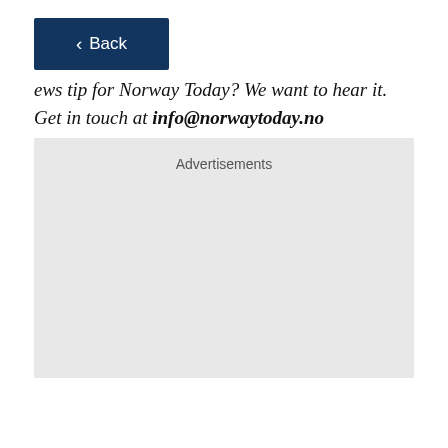ews tip for Norway Today? We want to hear it. Get in touch at info@norwaytoday.no
[Figure (other): Gray advertisement placeholder box with 'Advertisements' label]